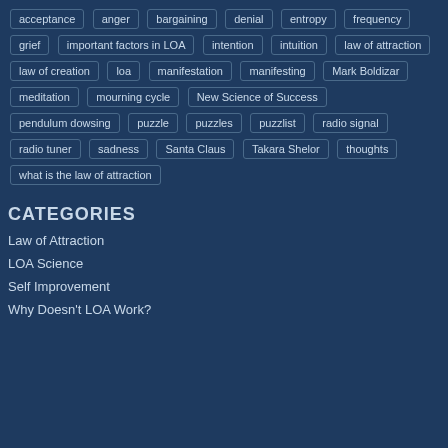acceptance
anger
bargaining
denial
entropy
frequency
grief
important factors in LOA
intention
intuition
law of attraction
law of creation
loa
manifestation
manifesting
Mark Boldizar
meditation
mourning cycle
New Science of Success
pendulum dowsing
puzzle
puzzles
puzzlist
radio signal
radio tuner
sadness
Santa Claus
Takara Shelor
thoughts
what is the law of attraction
CATEGORIES
Law of Attraction
LOA Science
Self Improvement
Why Doesn't LOA Work?